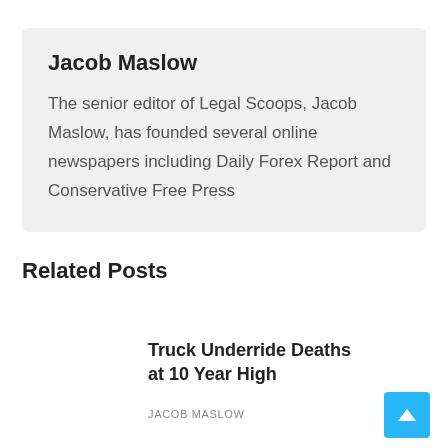Jacob Maslow
The senior editor of Legal Scoops, Jacob Maslow, has founded several online newspapers including Daily Forex Report and Conservative Free Press
Related Posts
Truck Underride Deaths at 10 Year High
JACOB MASLOW